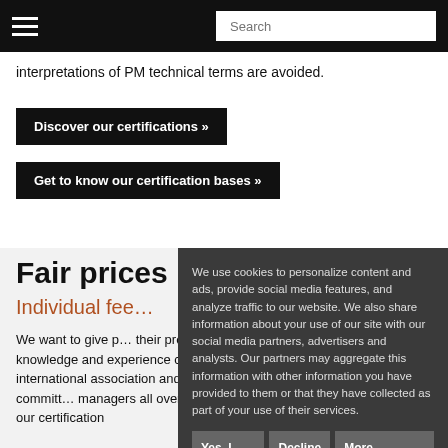Search
interpretations of PM technical terms are avoided.
Discover our certifications »
Get to know our certification bases »
Fair prices
Individual fee…
We want to give p… their project mana… certified. The IAPM is an international association and, as such, it is committ… managers all over the world. That's why our certification
We use cookies to personalize content and ads, provide social media features, and analyze traffic to our website. We also share information about your use of our site with our social media partners, advertisers and analysts. Our partners may aggregate this information with other information you have provided to them or that they have collected as part of your use of their services.